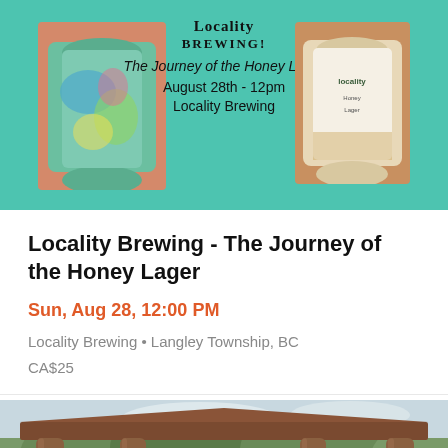[Figure (photo): Teal/mint promotional banner for Locality Brewing event. Shows two product photos (a tie-dye can on left, a beer can on right) on teal background with event text in center.]
Locality Brewing - The Journey of the Honey Lager
Sun, Aug 28, 12:00 PM
Locality Brewing • Langley Township, BC
CA$25
[Figure (photo): Photo of a rustic wood gazebo structure with log pillars, with trees and flowers visible in the background.]